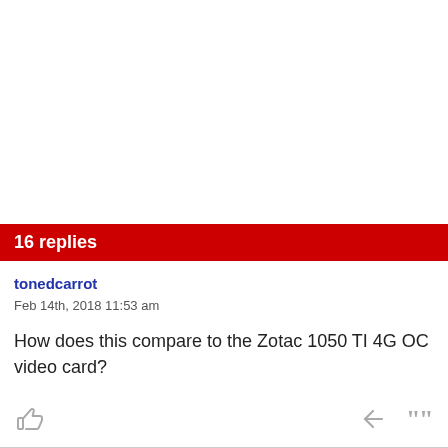16 replies
tonedcarrot
Feb 14th, 2018 11:53 am
How does this compare to the Zotac 1050 TI 4G OC video card?